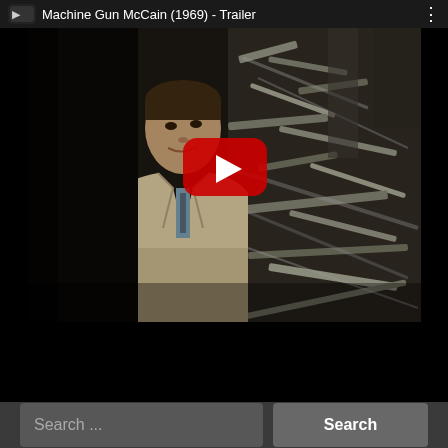Machine Gun McCain (1969) - Trailer
[Figure (screenshot): YouTube video thumbnail showing a man in a trench coat with film debris in background, with a red YouTube play button overlay. Video title: Machine Gun McCain (1969) - Trailer]
Search ...
Search